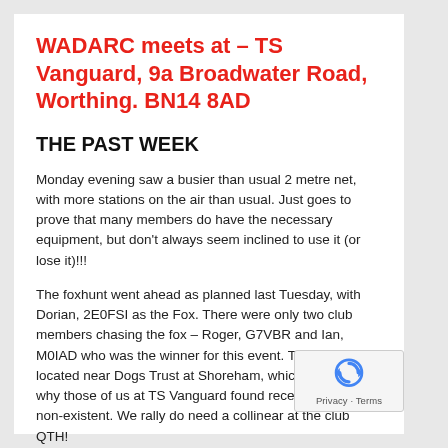WADARC meets at – TS Vanguard, 9a Broadwater Road, Worthing. BN14 8AD
THE PAST WEEK
Monday evening saw a busier than usual 2 metre net, with more stations on the air than usual. Just goes to prove that many members do have the necessary equipment, but don't always seem inclined to use it (or lose it)!!!
The foxhunt went ahead as planned last Tuesday, with Dorian, 2E0FSI as the Fox. There were only two club members chasing the fox – Roger, G7VBR and Ian, M0IAD who was the winner for this event. The fox was located near Dogs Trust at Shoreham, which is probably why those of us at TS Vanguard found reception poor to non-existent. We rally do need a collinear at the club QTH!